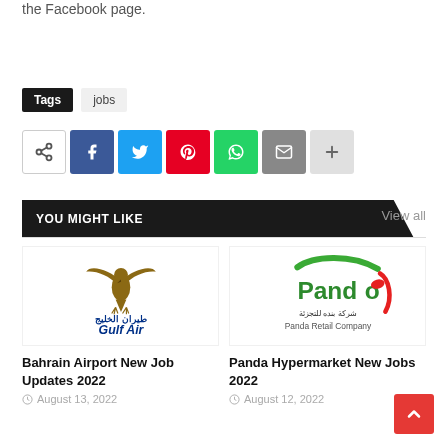the Facebook page.
Tags  jobs
[Figure (infographic): Social share buttons: share icon, Facebook, Twitter, Pinterest, WhatsApp, Email, More (+)]
YOU MIGHT LIKE
View all
[Figure (logo): Gulf Air logo with falcon and Arabic text طيران الخليج and Gulf Air text]
Bahrain Airport New Job Updates 2022
August 13, 2022
[Figure (logo): Panda Retail Company logo with green and red Panda text, Arabic شركة بنده للتجزئة, and Panda Retail Company text]
Panda Hypermarket New Jobs 2022
August 12, 2022